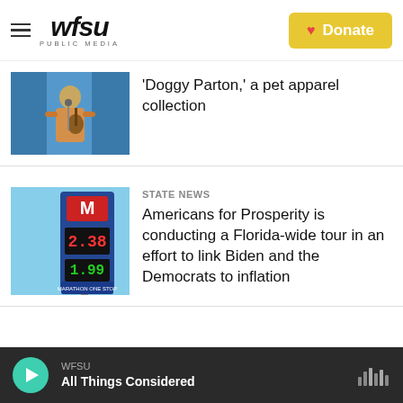WFSU PUBLIC MEDIA
'Doggy Parton,' a pet apparel collection
State News
Americans for Prosperity is conducting a Florida-wide tour in an effort to link Biden and the Democrats to inflation
WFSU All Things Considered